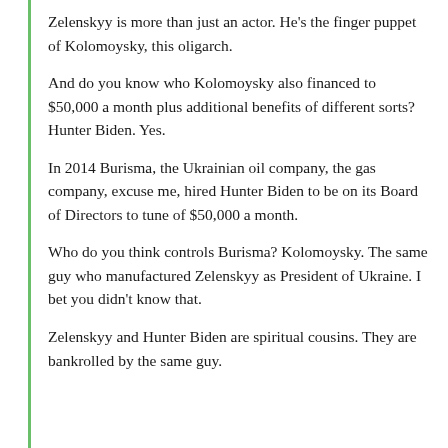Zelenskyy is more than just an actor. He's the finger puppet of Kolomoysky, this oligarch.
And do you know who Kolomoysky also financed to $50,000 a month plus additional benefits of different sorts? Hunter Biden. Yes.
In 2014 Burisma, the Ukrainian oil company, the gas company, excuse me, hired Hunter Biden to be on its Board of Directors to tune of $50,000 a month.
Who do you think controls Burisma? Kolomoysky. The same guy who manufactured Zelenskyy as President of Ukraine. I bet you didn't know that.
Zelenskyy and Hunter Biden are spiritual cousins. They are bankrolled by the same guy.